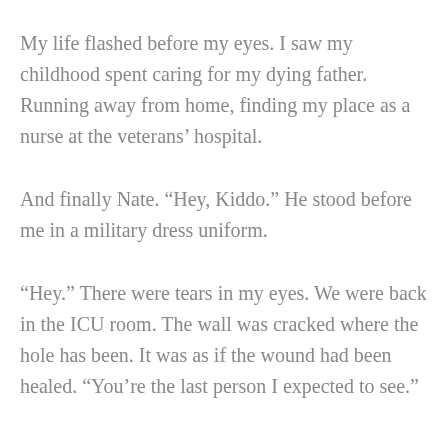My life flashed before my eyes. I saw my childhood spent caring for my dying father. Running away from home, finding my place as a nurse at the veterans’ hospital.
And finally Nate. “Hey, Kiddo.” He stood before me in a military dress uniform.
“Hey.” There were tears in my eyes. We were back in the ICU room. The wall was cracked where the hole has been. It was as if the wound had been healed. “You’re the last person I expected to see.”